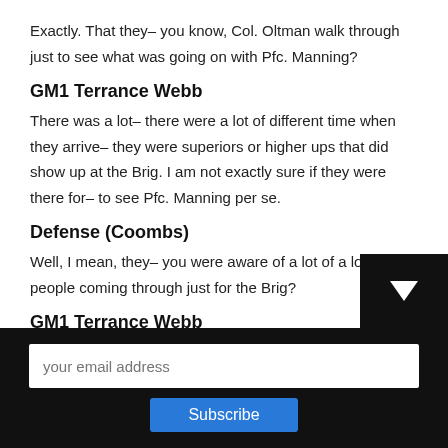Exactly. That they– you know, Col. Oltman walk through just to see what was going on with Pfc. Manning?
GM1 Terrance Webb
There was a lot– there were a lot of different time when they arrive– they were superiors or higher ups that did show up at the Brig. I am not exactly sure if they were there for– to see Pfc. Manning per se.
Defense (Coombs)
Well, I mean, they– you were aware of a lot of a lot of VIP people coming through just for the Brig?
GM1 Terrance Webb
Yes. They're not there– VIP's that did come through, they w…